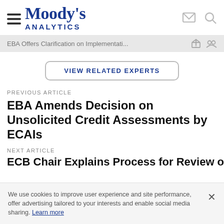Moody's Analytics
EBA Offers Clarification on Implementati...
VIEW RELATED EXPERTS
PREVIOUS ARTICLE
EBA Amends Decision on Unsolicited Credit Assessments by ECAIs
NEXT ARTICLE
ECB Chair Explains Process for Review of Bank NPL
We use cookies to improve user experience and site performance, offer advertising tailored to your interests and enable social media sharing. Learn more